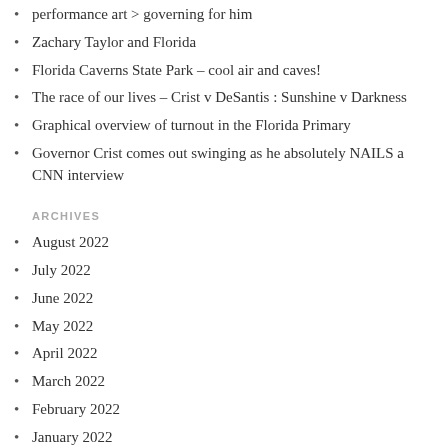performance art > governing for him
Zachary Taylor and Florida
Florida Caverns State Park – cool air and caves!
The race of our lives – Crist v DeSantis : Sunshine v Darkness
Graphical overview of turnout in the Florida Primary
Governor Crist comes out swinging as he absolutely NAILS a CNN interview
ARCHIVES
August 2022
July 2022
June 2022
May 2022
April 2022
March 2022
February 2022
January 2022